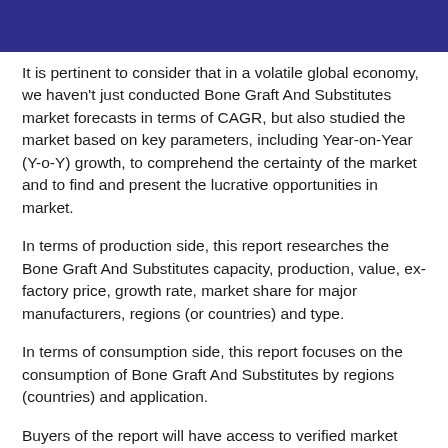It is pertinent to consider that in a volatile global economy, we haven't just conducted Bone Graft And Substitutes market forecasts in terms of CAGR, but also studied the market based on key parameters, including Year-on-Year (Y-o-Y) growth, to comprehend the certainty of the market and to find and present the lucrative opportunities in market.
In terms of production side, this report researches the Bone Graft And Substitutes capacity, production, value, ex-factory price, growth rate, market share for major manufacturers, regions (or countries) and type.
In terms of consumption side, this report focuses on the consumption of Bone Graft And Substitutes by regions (countries) and application.
Buyers of the report will have access to verified market figures, including global market size in terms of revenue